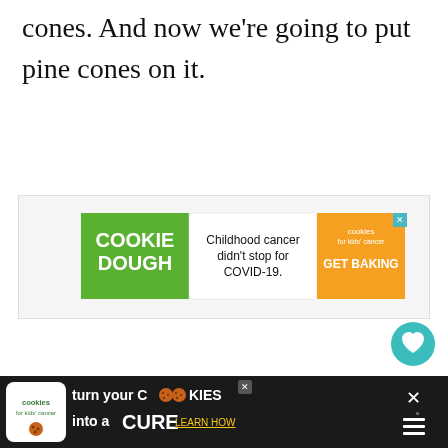cones. And now we’re going to put pine cones on it.
[Figure (infographic): Cookie Dough for kids cancer advertisement banner: green section with 'COOKIE DOUGH' text, white section with 'Childhood cancer didn’t stop for COVID-19.', orange section with cookies for kids cancer logo and 'GET BAKING']
[Figure (infographic): Heart/like button (teal circle with heart icon) showing 11.6K likes, and a share button below it]
[Figure (infographic): Bottom black banner advertisement: cookies for kids cancer logo, 'turn your COOKIES into a CURE LEARN HOW' text with close button]